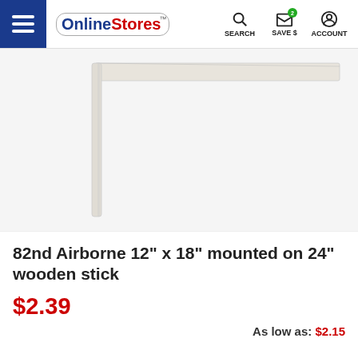Online Stores — SEARCH  SAVE $  ACCOUNT
[Figure (photo): A white flag mounted on a wooden stick forming an L-shape, shown against a white background. The flag is blank/white and the stick is light wood colored.]
82nd Airborne 12" x 18" mounted on 24" wooden stick
$2.39
As low as: $2.15